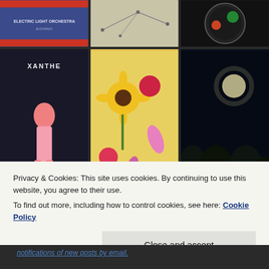[Figure (photo): Grid of 6 photos: top row shows an Electric Light Orchestra album cover, a map/diagram photo, and a circular badge illustration. Bottom row shows an Xanthe (artist) album cover with pink-haired figure, a colorful flower bouquet, and a night sky with moon through trees.]
VISTA-BOOK
Privacy & Cookies: This site uses cookies. By continuing to use this website, you agree to their use.
To find out more, including how to control cookies, see here: Cookie Policy
Close and accept
notifications of new posts by email.